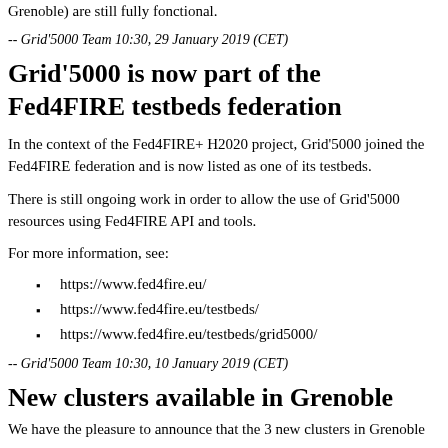Grenoble) are still fully fonctional.
-- Grid'5000 Team 10:30, 29 January 2019 (CET)
Grid'5000 is now part of the Fed4FIRE testbeds federation
In the context of the Fed4FIRE+ H2020 project, Grid'5000 joined the Fed4FIRE federation and is now listed as one of its testbeds.
There is still ongoing work in order to allow the use of Grid'5000 resources using Fed4FIRE API and tools.
For more information, see:
https://www.fed4fire.eu/
https://www.fed4fire.eu/testbeds/
https://www.fed4fire.eu/testbeds/grid5000/
-- Grid'5000 Team 10:30, 10 January 2019 (CET)
New clusters available in Grenoble
We have the pleasure to announce that the 3 new clusters in Grenoble